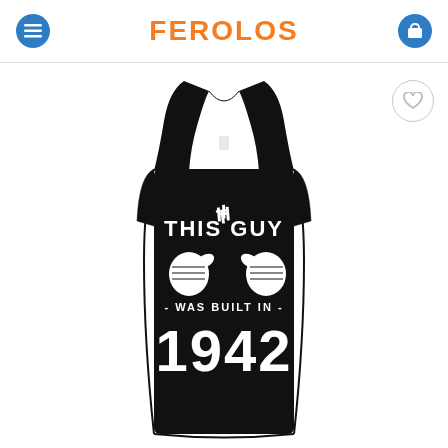FEROLOS
[Figure (photo): Black tank top with white text reading 'THIS GUY WAS BUILT IN 1942' with two thumbs-pointing-inward hand graphics, displayed on a white background. A wishlist heart icon appears in the top right of the product area.]